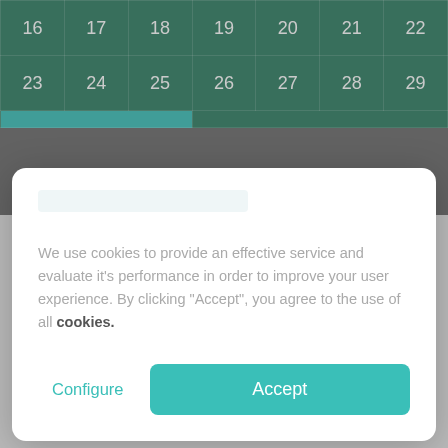[Figure (screenshot): Background calendar grid showing rows with dates 16-22 and 23-29 on a dark green background, partially visible behind a cookie consent modal overlay]
We use cookies to provide an effective service and evaluate it's performance in order to improve your user experience. By clicking "Accept", you agree to the use of all cookies.
Configure
Accept